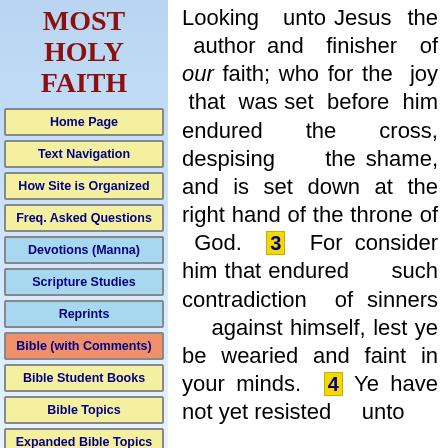MOST HOLY FAITH
Home Page
Text Navigation
How Site is Organized
Freq. Asked Questions
Devotions (Manna)
Scripture Studies
Reprints
Bible (with Comments)
Bible Student Books
Bible Topics
Expanded Bible Topics
Bible Student Webs
Miscellaneous
Looking unto Jesus the author and finisher of our faith; who for the joy that was set before him endured the cross, despising the shame, and is set down at the right hand of the throne of God. 3 For consider him that endured such contradiction of sinners against himself, lest ye be wearied and faint in your minds. 4 Ye have not yet resisted unto